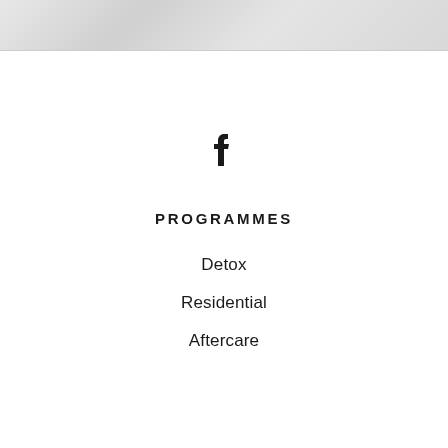[Figure (photo): Gray/white textured background banner at top of page]
[Figure (logo): Facebook 'f' icon in bold black]
PROGRAMMES
Detox
Residential
Aftercare